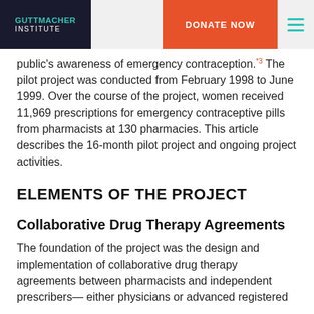GUTTMACHER INSTITUTE | DONATE NOW
public's awareness of emergency contraception.[*3] The pilot project was conducted from February 1998 to June 1999. Over the course of the project, women received 11,969 prescriptions for emergency contraceptive pills from pharmacists at 130 pharmacies. This article describes the 16-month pilot project and ongoing project activities.
ELEMENTS OF THE PROJECT
Collaborative Drug Therapy Agreements
The foundation of the project was the design and implementation of collaborative drug therapy agreements between pharmacists and independent prescribers— either physicians or advanced registered